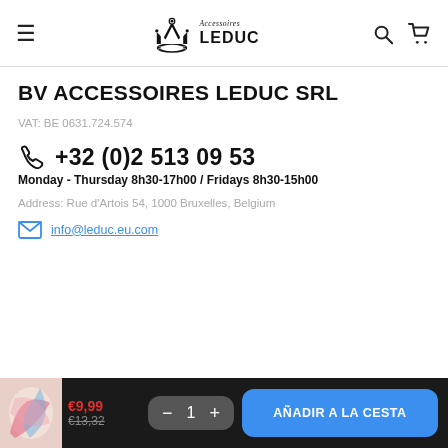Accessoires LEDUC — navigation header with hamburger menu, logo, search and cart icons
BV ACCESSOIRES LEDUC SRL
VAT: BE 0631.724.574
+32 (0)2 513 09 53
Monday - Thursday 8h30-17h00 / Fridays 8h30-15h00
Address: Rue d'Artois 54, 1000 Bruxelles, Belgium
info@leduc.eu.com
€9,99 €13,32 — 1 — AÑADIR A LA CESTA